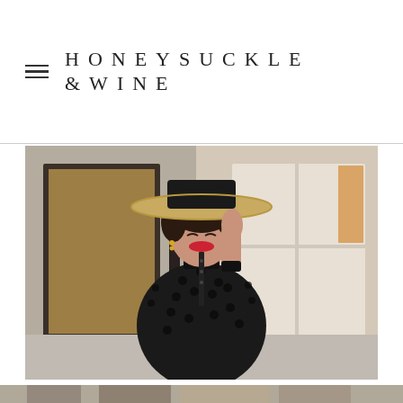HONEYSUCKLE & WINE
[Figure (photo): A smiling woman wearing a black polka-dot sheer blouse, a straw wide-brim hat, with arms crossed, photographed outdoors in front of a shop window with a blurred background.]
[Figure (photo): Bottom strip of a second photo partially visible at the bottom of the page.]